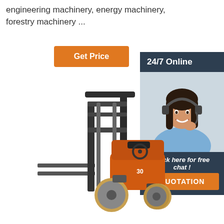engineering machinery, energy machinery, forestry machinery ...
Get Price
24/7 Online
[Figure (photo): Customer service agent woman with headset smiling]
Click here for free chat !
QUOTATION
[Figure (photo): Orange forklift truck with forks lowered, model 30]